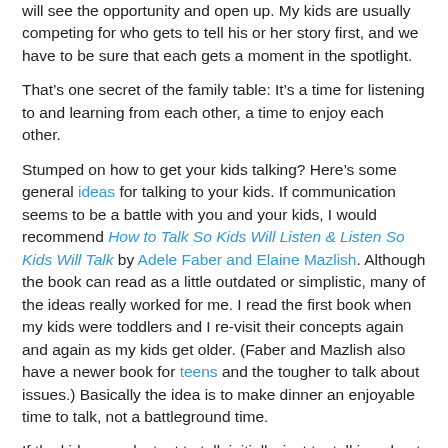will see the opportunity and open up. My kids are usually competing for who gets to tell his or her story first, and we have to be sure that each gets a moment in the spotlight.
That’s one secret of the family table: It’s a time for listening to and learning from each other, a time to enjoy each other.
Stumped on how to get your kids talking? Here’s some general ideas for talking to your kids. If communication seems to be a battle with you and your kids, I would recommend How to Talk So Kids Will Listen & Listen So Kids Will Talk by Adele Faber and Elaine Mazlish. Although the book can read as a little outdated or simplistic, many of the ideas really worked for me. I read the first book when my kids were toddlers and I re-visit their concepts again and again as my kids get older. (Faber and Mazlish also have a newer book for teens and the tougher to talk about issues.) Basically the idea is to make dinner an enjoyable time to talk, not a battleground time.
If the kids are reluctant to talk initially, just try talking about your own day, or asking your spouse about something at work or at home. The minute you start talking, one of your